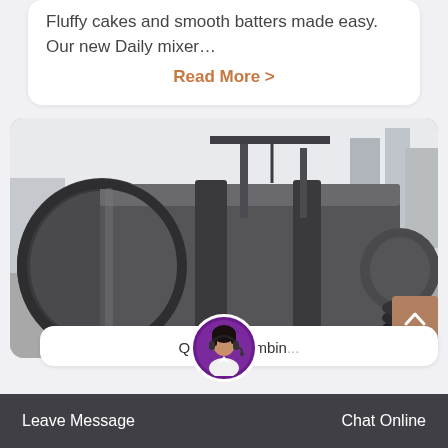Fluffy cakes and smooth batters made easy. Our new Daily mixer…
Read More >
[Figure (photo): Large industrial rotary drum/cylinder machine (likely a rotary dryer or ball mill) sitting on a concrete yard with industrial structures in the background. The machine is dark grey/black metal and very large.]
Quick M...Combin...
Leave Message
Chat Online